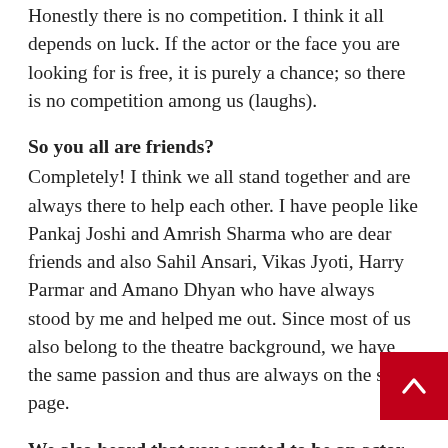Honestly there is no competition. I think it all depends on luck. If the actor or the face you are looking for is free, it is purely a chance; so there is no competition among us (laughs).
So you all are friends? Completely! I think we all stand together and are always there to help each other. I have people like Pankaj Joshi and Amrish Sharma who are dear friends and also Sahil Ansari, Vikas Jyoti, Harry Parmar and Amano Dhyan who have always stood by me and helped me out. Since most of us also belong to the theatre background, we have the same passion and thus are always on the same page.
We also heard that you wanted to be an actor I must correct you, I am an actor. It is sad that people feel the same because actors for them are...